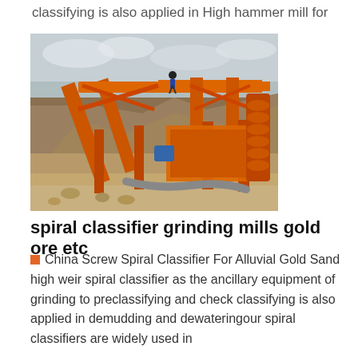classifying is also applied in High hammer mill for
[Figure (photo): Outdoor mining site showing a large orange spiral classifier machine with conveyor belts and screw mechanisms, operated in an open-pit setting with rocky terrain and cloudy sky.]
spiral classifier grinding mills gold ore etc
China Screw Spiral Classifier For Alluvial Gold Sand high weir spiral classifier as the ancillary equipment of grinding to preclassifying and check classifying is also applied in demudding and dewateringour spiral classifiers are widely used in classifying from the mining industry which is